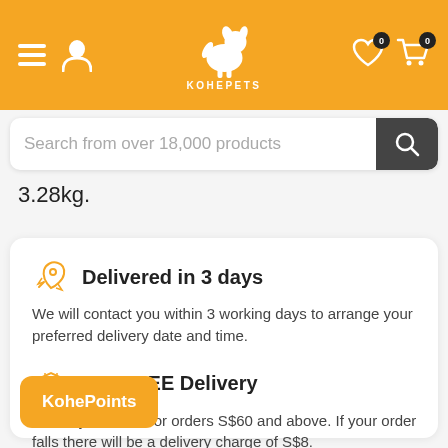KOHEPETS - Navigation header with hamburger menu, user icon, logo, wishlist and cart icons
[Figure (screenshot): Search bar with placeholder text 'Search from over 18,000 products' and dark search button with magnifier icon]
3.28kg.
Delivered in 3 days
We will contact you within 3 working days to arrange your preferred delivery date and time.
Get FREE Delivery
Delivery is FREE for orders S$60 and above. If your order falls there will be a delivery charge of S$8.
KohePoints